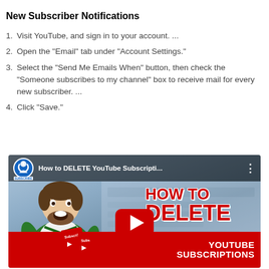New Subscriber Notifications
1. Visit YouTube, and sign in to your account. ...
2. Open the "Email" tab under "Account Settings."
3. Select the "Send Me Emails When" button, then check the "Someone subscribes to my channel" box to receive mail for every new subscriber. ...
4. Click "Save."
[Figure (screenshot): YouTube video thumbnail showing 'How to DELETE YouTube Subscripti...' with a man in a green apron giving thumbs up, and bold red text 'HOW TO DELETE YOUTUBE SUBSCRIPTIONS']